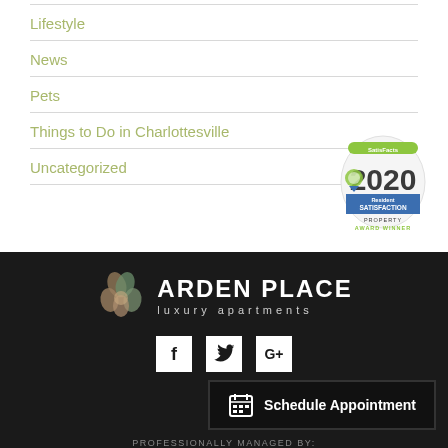Lifestyle
News
Pets
Things to Do in Charlottesville
Uncategorized
[Figure (illustration): SatisFacts 2020 Resident Satisfaction Property Award Winner badge]
[Figure (logo): Arden Place luxury apartments logo with stylized flower icon, white text on dark background]
[Figure (infographic): Social media icons: Facebook, Twitter, Google+]
Schedule Appointment
PROFESSIONALLY MANAGED BY: